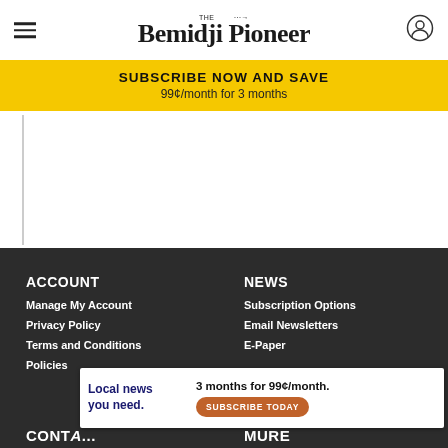The Bemidji Pioneer
SUBSCRIBE NOW AND SAVE
99¢/month for 3 months
ACCOUNT
Manage My Account
Privacy Policy
Terms and Conditions
Policies
NEWS
Subscription Options
Email Newsletters
E-Paper
CONTA...
MURE
Local news you need. 3 months for 99¢/month. SUBSCRIBE TODAY